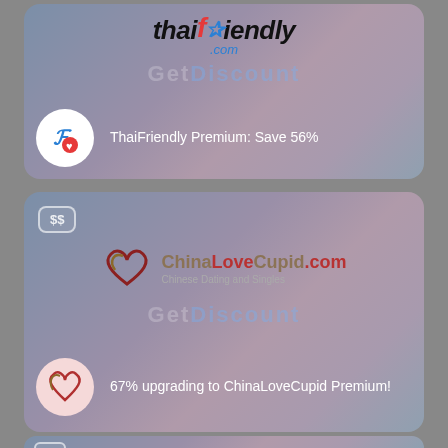[Figure (logo): ThaiFriendly.com logo card with 'Get Discount' watermark and ThaiFriendly Premium: Save 56% promo]
ThaiFriendly Premium: Save 56%
[Figure (logo): ChinaLoveCupid.com logo card with 'Get Discount' watermark and 67% upgrading to ChinaLoveCupid Premium! promo]
67% upgrading to ChinaLoveCupid Premium!
[Figure (screenshot): Partial third card with SS badge visible at bottom]